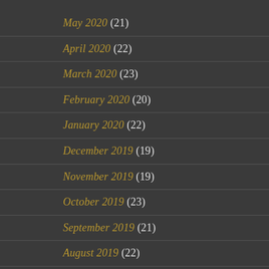May 2020 (21)
April 2020 (22)
March 2020 (23)
February 2020 (20)
January 2020 (22)
December 2019 (19)
November 2019 (19)
October 2019 (23)
September 2019 (21)
August 2019 (22)
July 2019 (23)